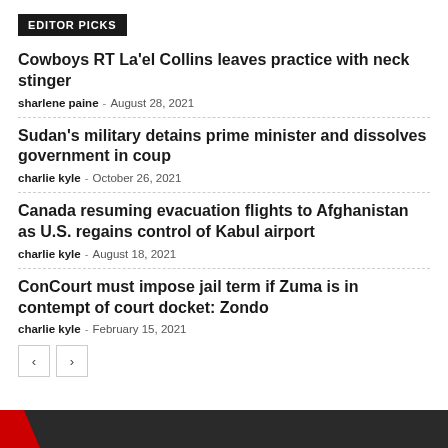EDITOR PICKS
Cowboys RT La'el Collins leaves practice with neck stinger
sharlene paine  -  August 28, 2021
Sudan's military detains prime minister and dissolves government in coup
charlie kyle  -  October 26, 2021
Canada resuming evacuation flights to Afghanistan as U.S. regains control of Kabul airport
charlie kyle  -  August 18, 2021
ConCourt must impose jail term if Zuma is in contempt of court docket: Zondo
charlie kyle  -  February 15, 2021